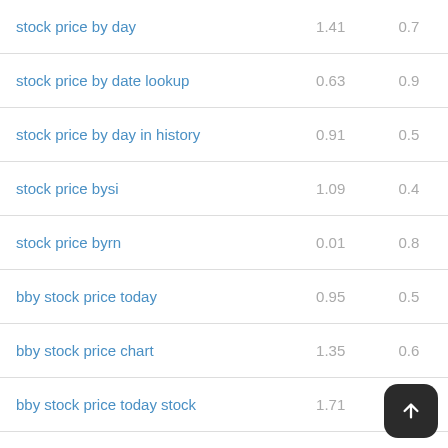| Keyword | Col1 | Col2 |
| --- | --- | --- |
| stock price by day | 1.41 | 0.7 |
| stock price by date lookup | 0.63 | 0.9 |
| stock price by day in history | 0.91 | 0.5 |
| stock price bysi | 1.09 | 0.4 |
| stock price byrn | 0.01 | 0.8 |
| bby stock price today | 0.95 | 0.5 |
| bby stock price chart | 1.35 | 0.6 |
| bby stock price today stock | 1.71 | 0.2 |
| bby stock price history | 1.21 |  |